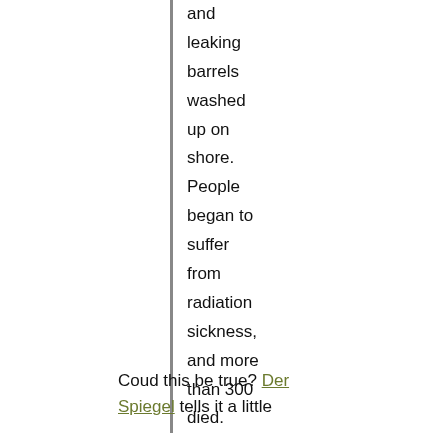and leaking barrels washed up on shore. People began to suffer from radiation sickness, and more than 300 died.
Coud this be true? Der Spiegel tells it a little differently...